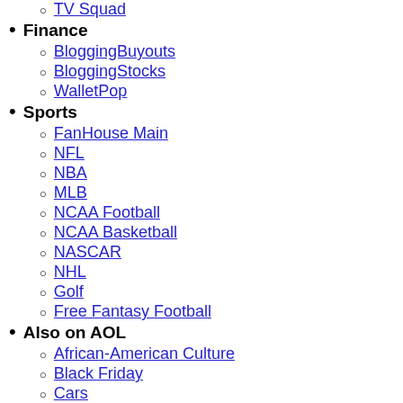TV Squad
Finance
BloggingBuyouts
BloggingStocks
WalletPop
Sports
FanHouse Main
NFL
NBA
MLB
NCAA Football
NCAA Basketball
NASCAR
NHL
Golf
Free Fantasy Football
Also on AOL
African-American Culture
Black Friday
Cars
Games
Maps
Money
Movies
Music